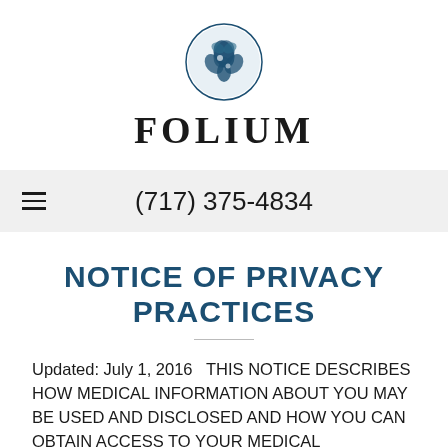[Figure (logo): Folium logo: circular botanical illustration (dark teal) above the word FOLIUM in bold serif capitals]
≡  (717) 375-4834
NOTICE OF PRIVACY PRACTICES
Updated: July 1, 2016   THIS NOTICE DESCRIBES HOW MEDICAL INFORMATION ABOUT YOU MAY BE USED AND DISCLOSED AND HOW YOU CAN OBTAIN ACCESS TO YOUR MEDICAL INFORMATION. PLEASE REVIEW IT CAREFULLY. This Notic…